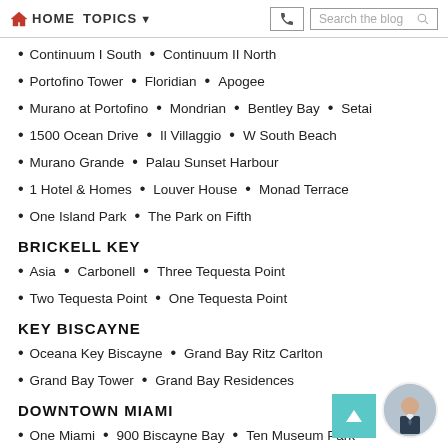HOME  TOPICS  [navigation bar with search]
Continuum I South  •  Continuum II North
Portofino Tower  •  Floridian  •  Apogee
Murano at Portofino  •  Mondrian  •  Bentley Bay  •  Setai
1500 Ocean Drive  •  Il Villaggio  •  W South Beach
Murano Grande  •  Palau Sunset Harbour
1 Hotel & Homes  •  Louver House  •  Monad Terrace
One Island Park  •  The Park on Fifth
BRICKELL KEY
Asia  •  Carbonell  •  Three Tequesta Point
Two Tequesta Point  •  One Tequesta Point
KEY BISCAYNE
Oceana Key Biscayne  •  Grand Bay Ritz Carlton
Grand Bay Tower  •  Grand Bay Residences
DOWNTOWN MIAMI
One Miami  •  900 Biscayne Bay  •  Ten Museum Park